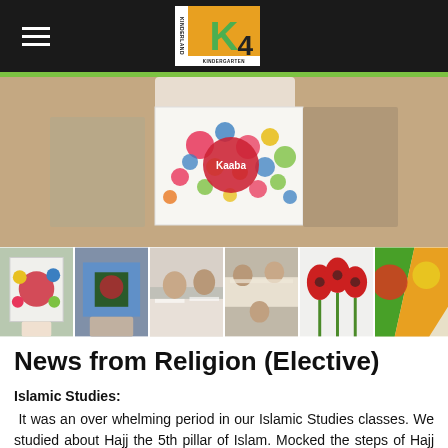Navigation bar with hamburger menu and K logo
[Figure (photo): Child holding up a white paper artwork with colorful painted dots and a large red circle in the center with text, displayed in a classroom setting]
[Figure (photo): Thumbnail strip of 6 classroom art activity photos showing students holding artworks with painted dots and flowers]
News from Religion (Elective)
Islamic Studies:
It was an over whelming period in our Islamic Studies classes. We studied about Hajj the 5th pillar of Islam. Mocked the steps of Hajj at school